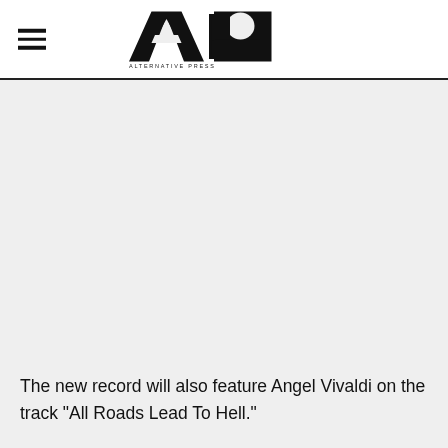Alternative Press
[Figure (logo): Alternative Press (AP) logo — large bold 'AP' letters with 'ALTERNATIVE PRESS' text below]
The new record will also feature Angel Vivaldi on the track "All Roads Lead To Hell."